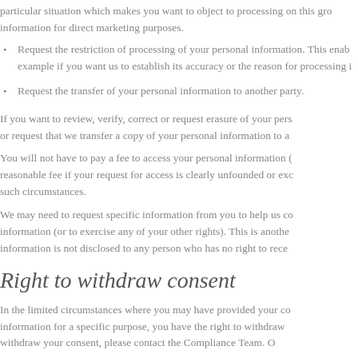particular situation which makes you want to object to processing on this ground, or object to processing your information for direct marketing purposes.
Request the restriction of processing of your personal information. This enables you to ask us to suspend the processing of personal information about you, for example if you want us to establish its accuracy or the reason for processing it.
Request the transfer of your personal information to another party.
If you want to review, verify, correct or request erasure of your personal information, object to the processing of your personal data, or request that we transfer a copy of your personal information to another party, please contact the Compliance Team.
You will not have to pay a fee to access your personal information (or to exercise any of the other rights). However, we may charge a reasonable fee if your request for access is clearly unfounded or excessive. Alternatively, we may refuse to comply with the request in such circumstances.
We may need to request specific information from you to help us confirm your identity and ensure your right to access the information (or to exercise any of your other rights). This is another appropriate security measure to ensure that personal information is not disclosed to any person who has no right to receive it.
Right to withdraw consent
In the limited circumstances where you may have provided your consent to the collection, processing and transfer of your personal information for a specific purpose, you have the right to withdraw your consent for that specific processing at any time. To withdraw your consent, please contact the Compliance Team. Once